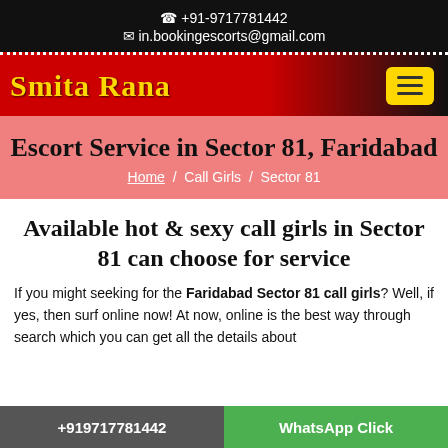☎ +91-9717781442
✉ in.bookingescorts@gmail.com
Smita Rana
Escort Service in Sector 81, Faridabad
Home / Call Girls / Sector 81
Available hot & sexy call girls in Sector 81 can choose for service
If you might seeking for the Faridabad Sector 81 call girls? Well, if yes, then surf online now! At now, online is the best way through search which you can get all the details about
+919717781442   WhatsApp Click